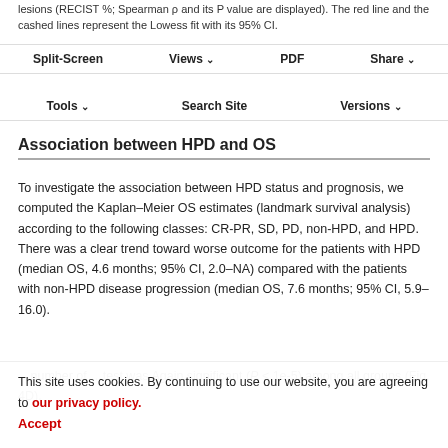lesions (RECIST %; Spearman ρ and its P value are displayed). The red line and the cashed lines represent the Lowess fit with its 95% CI.
Split-Screen  Views  PDF  Share  Tools  Search Site  Versions
Association between HPD and OS
To investigate the association between HPD status and prognosis, we computed the Kaplan–Meier OS estimates (landmark survival analysis) according to the following classes: CR-PR, SD, PD, non-HPD, and HPD. There was a clear trend toward worse outcome for the patients with HPD (median OS, 4.6 months; 95% CI, 2.0–NA) compared with the patients with non-HPD disease progression (median OS, 7.6 months; 95% CI, 5.9–16.0).
This site uses cookies. By continuing to use our website, you are agreeing to our privacy policy. Accept
Again significant (P < 1e-5) among all groups (Fig. 4D).